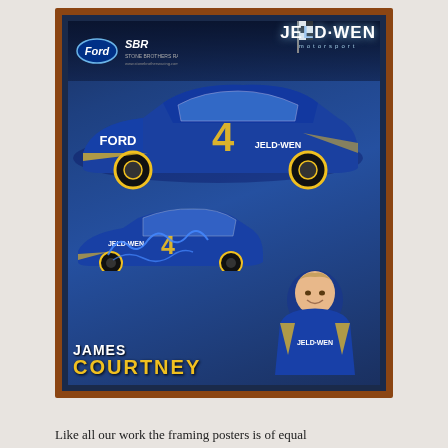[Figure (photo): A framed motorsport poster of James Courtney in a wooden frame with blue mat. The poster features JELD-WEN Motorsport / Ford / Stone Brothers Racing branding, showing two views of a blue and yellow Ford racing car (#4) with JELD-WEN sponsorship, and a portrait of driver James Courtney in his racing suit. The poster has a signature on it. The name 'JAMES COURTNEY' is displayed at the bottom of the poster in white and yellow text.]
Like all our work the framing posters is of equal